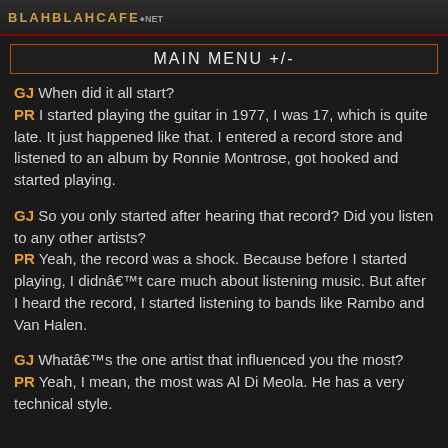BLAHBLAHCAFE
MAIN MENU +/-
GJ When did it all start? PR I started playing the guitar in 1977, I was 17, which is quite late. It just happened like that. I entered a record store and listened to an album by Ronnie Montrose, got hooked and started playing.
GJ So you only started after hearing that record? Did you listen to any other artists? PR Yeah, the record was a shock. Because before I started playing, I didn’t care much about listening music. But after I heard the record, I started listening to bands like Rambo and Van Halen.
GJ What’s the one artist that influenced you the most? PR Yeah, I mean, the most was Al Di Meola. He has a very technical style.